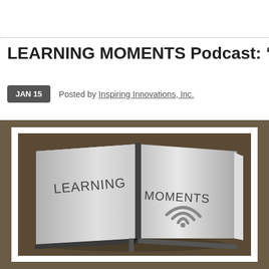LEARNING MOMENTS Podcast: “Pricele
JAN 15   Posted by Inspiring Innovations, Inc.
[Figure (photo): An open book lying on a wooden surface with 'LEARNING MOMENTS' text on its pages and a WiFi/podcast icon symbol below the text]